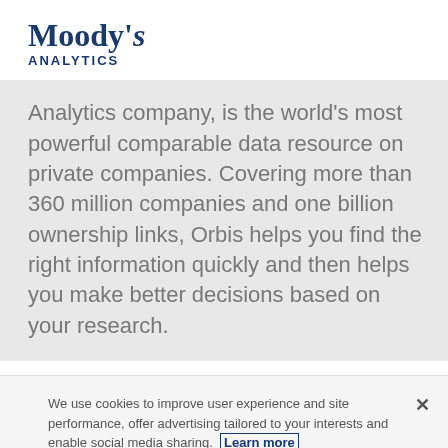[Figure (logo): Moody's Analytics logo with serif bold text and 'ANALYTICS' in uppercase spaced letters, both in dark navy blue]
Analytics company, is the world's most powerful comparable data resource on private companies. Covering more than 360 million companies and one billion ownership links, Orbis helps you find the right information quickly and then helps you make better decisions based on your research.
We use cookies to improve user experience and site performance, offer advertising tailored to your interests and enable social media sharing. Learn more